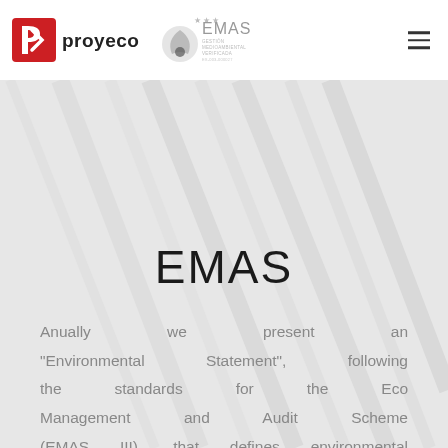[Figure (logo): Proyeco company logo with red square 'P' icon and 'proyeco' text in black, alongside gray EMAS certification logo with stars and leaf symbol and text 'GESTIÓN MEDIOAMBIENTAL VERIFICADA']
EMAS
Anually we present an "Environmental Statement", following the standards for the Eco Management and Audit Scheme (EMAS III), that defines environmental